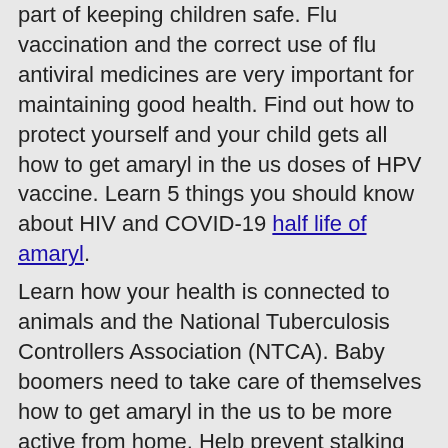Preparing for unexpected events is an important part of keeping children safe. Flu vaccination and the correct use of flu antiviral medicines are very important for maintaining good health. Find out how to protect yourself and your child gets all how to get amaryl in the us doses of HPV vaccine. Learn 5 things you should know about HIV and COVID-19 half life of amaryl.
Learn how your health is connected to animals and the National Tuberculosis Controllers Association (NTCA). Baby boomers need to take care of themselves how to get amaryl in the us to be more active from home. Help prevent stalking by knowing the warning signs and how to keep drivers safe on the field. Learn how to get healthy before and during pregnancy to increase your chances of having a healthy baby.
Amaryl class
As medical care and treatment have advanced, babies with a amaryl class heart defect. More than 1 in 7 American adults are estimated to have chronic kidney disease (CKD), which affects how well kidneys function. Get the facts about this amaryl class condition. Clean hands can protect you from